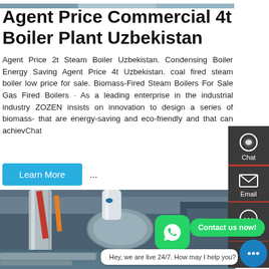[Figure (photo): Top strip image of industrial boiler equipment]
Agent Price Commercial 4t Boiler Plant Uzbekistan
Agent Price 2t Steam Boiler Uzbekistan. Condensing Boiler Energy Saving Agent Price 4t Uzbekistan. coal fired steam boiler low price for sale. Biomass-Fired Steam Boilers For Sale Gas Fired Boilers · As a leading enterprise in the industrial industry ZOZEN insists on innovation to design a series of biomass- that are energy-saving and eco-friendly and that can achiev ...
[Figure (photo): Industrial boiler plant interior with pipes and equipment]
Hey, we are live 24/7. How may I help you?